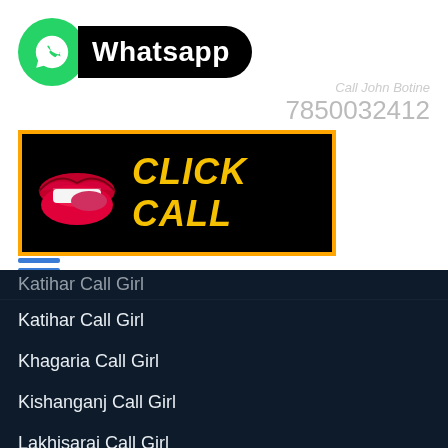[Figure (logo): WhatsApp logo with green circle and white phone icon, followed by black rounded badge with 'Whatsapp' text in white]
7850032412
[Figure (other): Black banner with orange border showing red lips illustration on left and 'CLICK CALL' text in yellow italic bold font]
[Figure (other): Hamburger menu icon with three blue horizontal lines]
Katihar Call Girl
Khagaria Call Girl
Kishanganj Call Girl
Lakhisarai Call Girl
Madhubani Call Girl